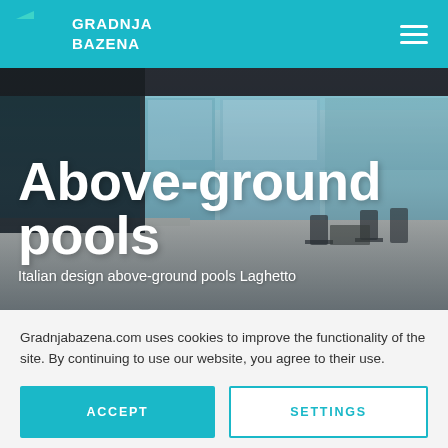GRADNJA BAZENA
[Figure (photo): Hero image of a modern luxury house with a pool area, large glass windows, terrace with chairs and table, ocean view in background, bright blue sky]
Above-ground pools
Italian design above-ground pools Laghetto
Gradnjabazena.com uses cookies to improve the functionality of the site. By continuing to use our website, you agree to their use.
ACCEPT
SETTINGS